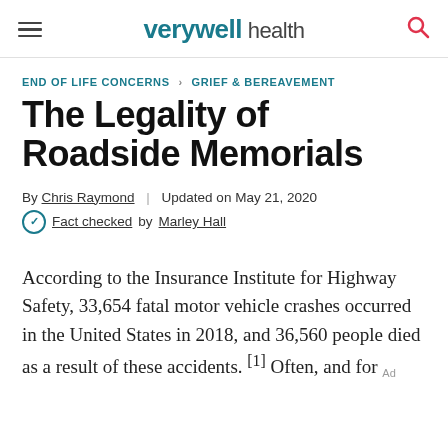verywell health
END OF LIFE CONCERNS > GRIEF & BEREAVEMENT
The Legality of Roadside Memorials
By Chris Raymond | Updated on May 21, 2020
Fact checked by Marley Hall
According to the Insurance Institute for Highway Safety, 33,654 fatal motor vehicle crashes occurred in the United States in 2018, and 36,560 people died as a result of these accidents.[1] Often, and for Ad